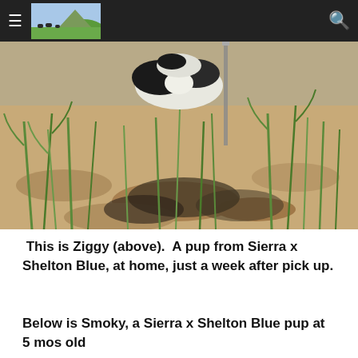≡ [logo image] 🔍
[Figure (photo): A dog (Ziggy) sniffing or lying in a crop field with dry sandy soil and green corn/grass plants, photographed from above.]
This is Ziggy (above).  A pup from Sierra x Shelton Blue, at home, just a week after pick up.
Below is Smoky, a Sierra x Shelton Blue pup at 5 mos old